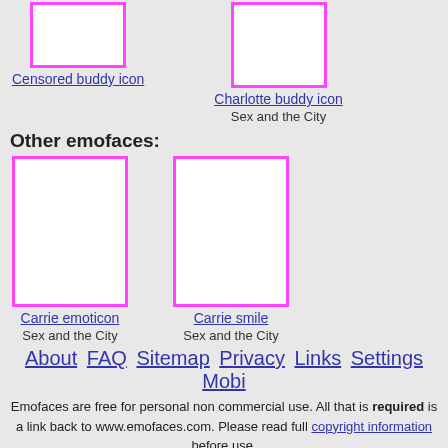[Figure (illustration): Censored buddy icon placeholder with pink border]
Censored buddy icon
[Figure (illustration): Charlotte buddy icon placeholder with pink border]
Charlotte buddy icon
Sex and the City
Other emofaces:
[Figure (illustration): Carrie emoticon placeholder with pink border]
Carrie emoticon
Sex and the City
[Figure (illustration): Carrie smile placeholder with pink border]
Carrie smile
Sex and the City
About FAQ Sitemap Privacy Links Settings Mobi
Emofaces are free for personal non commercial use. All that is required is a link back to www.emofaces.com. Please read full copyright information before use.
Formerly known as: smiley-faces.com and smiling-faces.com
© 1998 - 2022 by Marijn Kampf / emofaces.com. All Rights Reserved.
URL: //www.emofaces.com/buddy-icons/carrie-buddy-icon-sex-and-the-city
English  Nederlands